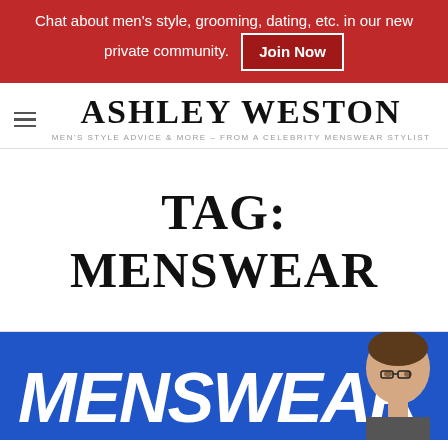Chat about men's style, grooming, dating, etc. in our new private community. Join Now
ASHLEY WESTON
MEN'S STYLE ADVICE & MORE – FROM A CELEBRITY MENSWEAR STYLIST
TAG: MENSWEAR
[Figure (illustration): Blue banner image with bold italic white text reading MENSWEAR and a cutout photo of a man with sunglasses on the right side]